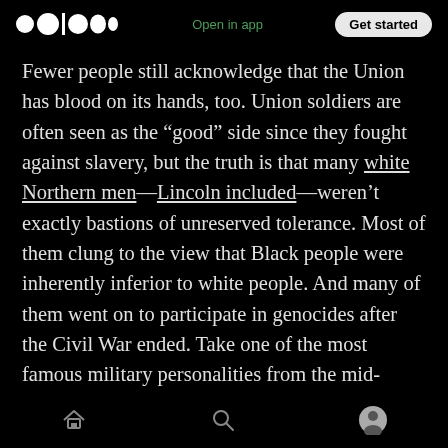Open in app | Get started
Fewer people still acknowledge that the Union has blood on its hands, too. Union soldiers are often seen as the “good” side since they fought against slavery, but the truth is that many white Northern men—Lincoln included—weren’t exactly bastions of unreserved tolerance. Most of them clung to the view that Black people were inherently inferior to white people. And many of them went on to participate in genocides after the Civil War ended. Take one of the most famous military personalities from the mid-nineteenth century: George Armstrong Custer. Custer, who